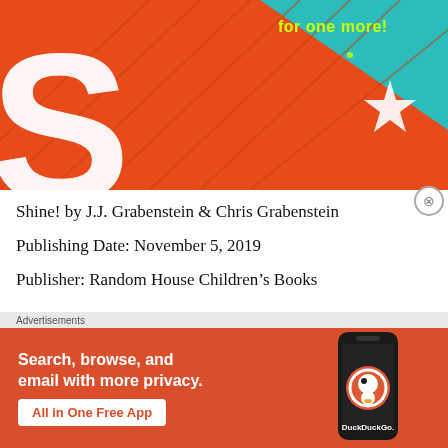[Figure (illustration): Book cover for 'Shine!' showing large white text on an orange background with teal corner and a star, text reads 'for one more!']
Shine! by J.J. Grabenstein & Chris Grabenstein
Publishing Date: November 5, 2019
Publisher: Random House Children's Books
[Figure (advertisement): DuckDuckGo advertisement: 'Search, browse, and email with more privacy. All in One Free App' with an image of a smartphone and DuckDuckGo logo]